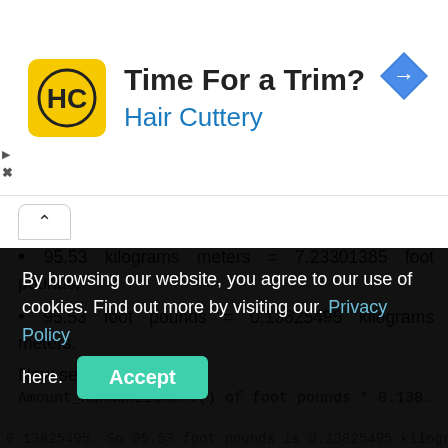[Figure (other): Hair Cuttery advertisement banner with logo (HC in circle on yellow square), title 'Time For a Trim?', subtitle 'Hair Cuttery', and a blue navigation diamond icon. Play and close (X) icons on left edge.]
95.53 kilograms meters = 7.23301385 foot pounds,
95.53 foot pounds = 0.13825495 kilograms meters.
Now see a formula:
By browsing our website, you agree to our use of cookies. Find out more by visiting our. Privacy Policy here.
0.13825495. So 95.53 foot pounds is 0.13825495 kilogram